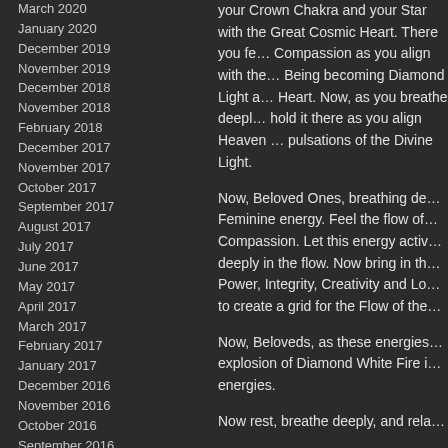March 2020
January 2020
December 2019
November 2019
December 2018
November 2018
February 2018
December 2017
November 2017
October 2017
September 2017
August 2017
July 2017
June 2017
May 2017
April 2017
March 2017
February 2017
January 2017
December 2016
November 2016
October 2016
September 2016
August 2016
July 2016
your Crown Chakra and your Heart with the Great Cosmic Heart. There you feel the Compassion as you align with the Great Being becoming Diamond Light and Cosmic Heart. Now, as you breathe deeply, hold it there as you align Heaven and Earth in the pulsations of the Divine Light.
Now, Beloved Ones, breathing deeply into the Feminine energy. Feel the flow of Love and Compassion. Let this energy activate as you rest deeply in the flow. Now bring in the Masculine Power, Integrity, Creativity and Love together to create a grid for the Flow of the Heart.
Now, Beloveds, as these energies merge feel the explosion of Diamond White Fire as you become these energies.
Now rest, breathe deeply, and rela…
Part Two: Sacred Circle for Cab…
Using the Diamond Light Vortex th… now create a Sacred Circle that…